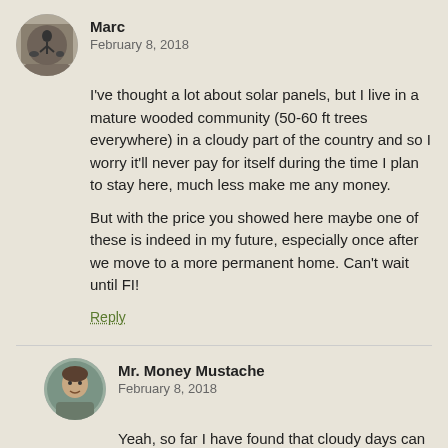Marc
February 8, 2018
I've thought a lot about solar panels, but I live in a mature wooded community (50-60 ft trees everywhere) in a cloudy part of the country and so I worry it'll never pay for itself during the time I plan to stay here, much less make me any money.
But with the price you showed here maybe one of these is indeed in my future, especially once after we move to a more permanent home. Can't wait until FI!
Reply
Mr. Money Mustache
February 8, 2018
Yeah, so far I have found that cloudy days can still be surprisingly productive (I see my panels still putting out 600-800 watts when the sky looks completely gloomy). But the deep shade of woods would be much worse. Not every spot is a great place to put solar panels, and that's fine – there are still plenty of sunny spots around to optimize their placement.